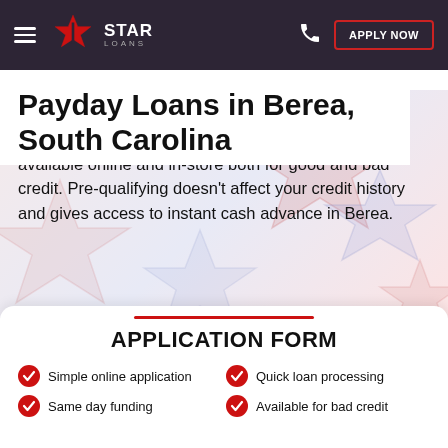Star Loans — APPLY NOW
Payday Loans in Berea, South Carolina
Looking for extra cash for emergency expenses in Berea, SC? Consider borrowing a quick Payday Loan available online and in-store both for good and bad credit. Pre-qualifying doesn't affect your credit history and gives access to instant cash advance in Berea.
APPLICATION FORM
Simple online application
Quick loan processing
Same day funding
Available for bad credit